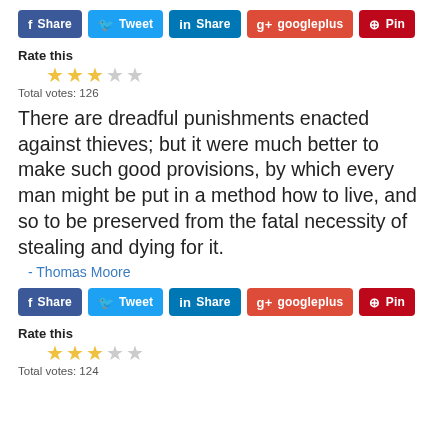[Figure (other): Social sharing buttons: Facebook Share, Twitter Tweet, LinkedIn Share, Google+ googleplus, Pinterest Pin]
Rate this
[Figure (other): Star rating: 3 filled stars, 2 empty stars]
Total votes: 126
There are dreadful punishments enacted against thieves; but it were much better to make such good provisions, by which every man might be put in a method how to live, and so to be preserved from the fatal necessity of stealing and dying for it.
- Thomas Moore
[Figure (other): Social sharing buttons: Facebook Share, Twitter Tweet, LinkedIn Share, Google+ googleplus, Pinterest Pin]
Rate this
[Figure (other): Star rating: 3 filled stars, 2 empty stars]
Total votes: 124